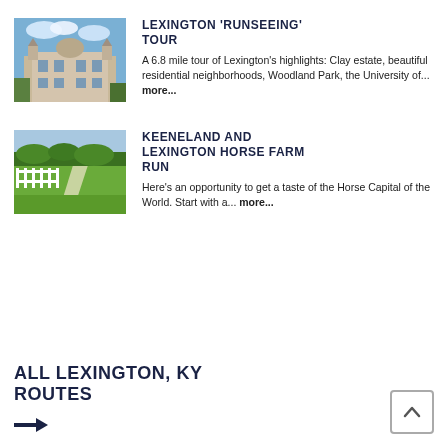[Figure (photo): Historic ornate building with dome and turrets under blue sky]
LEXINGTON 'RUNSEEING' TOUR
A 6.8 mile tour of Lexington's highlights: Clay estate, beautiful residential neighborhoods, Woodland Park, the University of... more...
[Figure (photo): Green horse farm with white fences and path leading into distance]
KEENELAND AND LEXINGTON HORSE FARM RUN
Here's an opportunity to get a taste of the Horse Capital of the World. Start with a... more...
ALL LEXINGTON, KY ROUTES